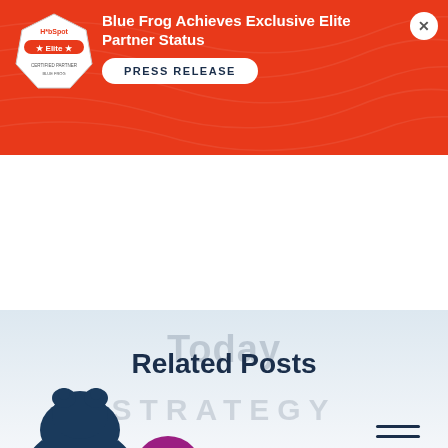[Figure (screenshot): Orange/red banner with HubSpot Elite badge, announcement text 'Blue Frog Achieves Exclusive Elite Partner Status', PRESS RELEASE button, and X close button]
Blue Frog Achieves Exclusive Elite Partner Status
PRESS RELEASE
[Figure (screenshot): Website nav area with light blue gradient background, partially visible 'Today' text watermark, Blue Frog logo (dark teal frog silhouette), hamburger menu icon, and partial orange circle element]
Related Posts
[Figure (infographic): Inbound marketing strategy diagram showing 'STRATEGY' text and circular flow: Attract -> STRANGERS circle (purple) -> Blog, Social Media, Keywords, Pages; Convert -> VISITORS circle (red/orange) -> Call-to-Action, Landing...]